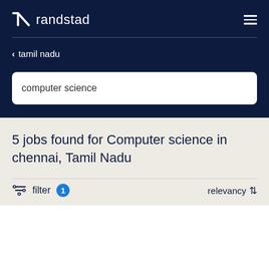randstad
< tamil nadu
computer science
5 jobs found for Computer science in chennai, Tamil Nadu
filter 1  relevancy